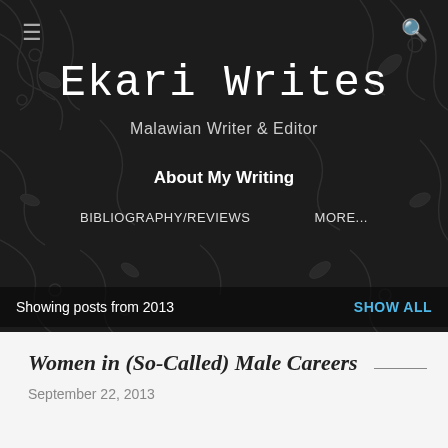Ekari Writes
Malawian Writer & Editor
About My Writing
BIBLIOGRAPHY/REVIEWS    MORE...
Showing posts from 2013    SHOW ALL
Women in (So-Called) Male Careers
September 22, 2013